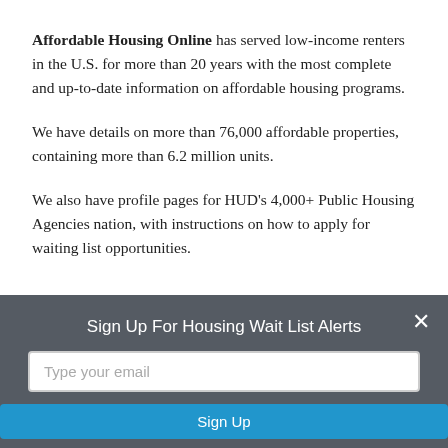Affordable Housing Online has served low-income renters in the U.S. for more than 20 years with the most complete and up-to-date information on affordable housing programs.
We have details on more than 76,000 affordable properties, containing more than 6.2 million units.
We also have profile pages for HUD’s 4,000+ Public Housing Agencies nation, with instructions on how to apply for waiting list opportunities.
Sign Up For Housing Wait List Alerts
Type your email
Sign Up